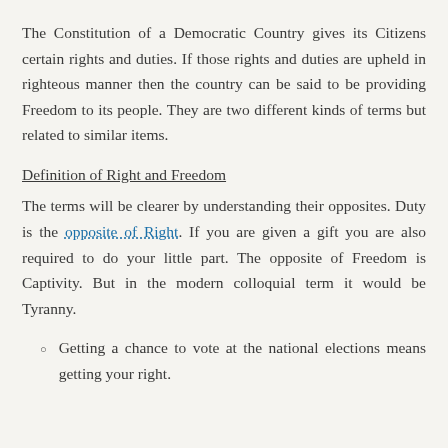The Constitution of a Democratic Country gives its Citizens certain rights and duties. If those rights and duties are upheld in righteous manner then the country can be said to be providing Freedom to its people. They are two different kinds of terms but related to similar items.
Definition of Right and Freedom
The terms will be clearer by understanding their opposites. Duty is the opposite of Right. If you are given a gift you are also required to do your little part. The opposite of Freedom is Captivity. But in the modern colloquial term it would be Tyranny.
Getting a chance to vote at the national elections means getting your right.